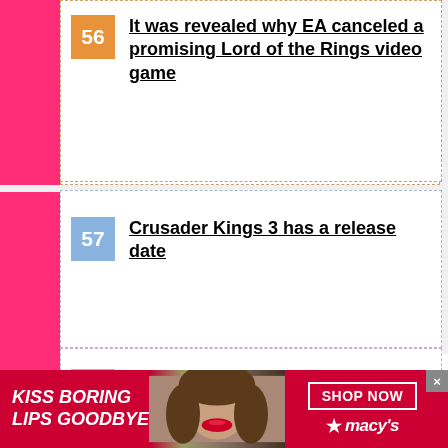56 It was revealed why EA canceled a promising Lord of the Rings video game
57 Crusader Kings 3 has a release date
58 Warcraft Adventures: Lord of the Clans is now free to download
Lord of the Rings Online gathers
[Figure (screenshot): Advertisement banner: KISS BORING LIPS GOODBYE with woman's face and SHOP NOW / macy's branding]